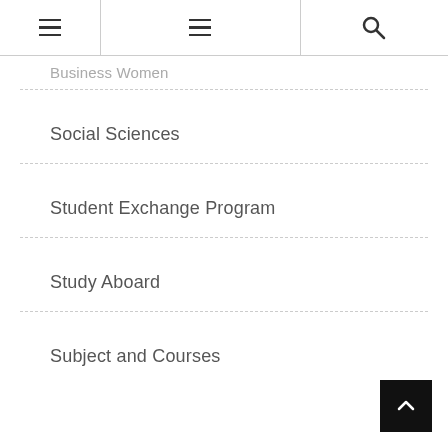Navigation header with hamburger menus and search icon
Business Women
Social Sciences
Student Exchange Program
Study Aboard
Subject and Courses